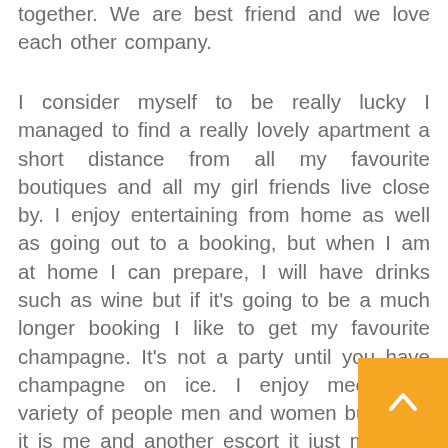together. We are best friend and we love each other company.
I consider myself to be really lucky I managed to find a really lovely apartment a short distance from all my favourite boutiques and all my girl friends live close by. I enjoy entertaining from home as well as going out to a booking, but when I am at home I can prepare, I will have drinks such as wine but if it's going to be a much longer booking I like to get my favourite champagne. It's not a party until you have champagne on ice. I enjoy meeting a variety of people men and women but when it is me and another escort it just makes it that much more fun I know that I can really let my hair down. You could say that two is company and three is a crowd but when it comes to escorting the more escorts the better. You could easily get bored with one with two or more you are guaranteed some extra special, and why not spoil yourself.